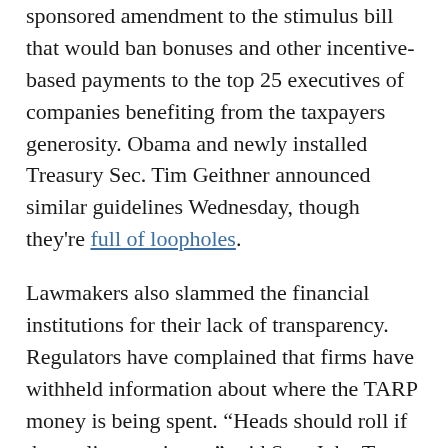sponsored amendment to the stimulus bill that would ban bonuses and other incentive-based payments to the top 25 executives of companies benefiting from the taxpayers generosity. Obama and newly installed Treasury Sec. Tim Geithner announced similar guidelines Wednesday, though they're full of loopholes.
Lawmakers also slammed the financial institutions for their lack of transparency. Regulators have complained that firms have withheld information about where the TARP money is being spent. “Heads should roll if that policy continues,” said Sen. John Tester (D-Mont.).
Regulators are vowing vigilance. Neil Barofsky, the chief watchdog of the TARP program, told lawmakers that his office plans a series of audits into the Bush